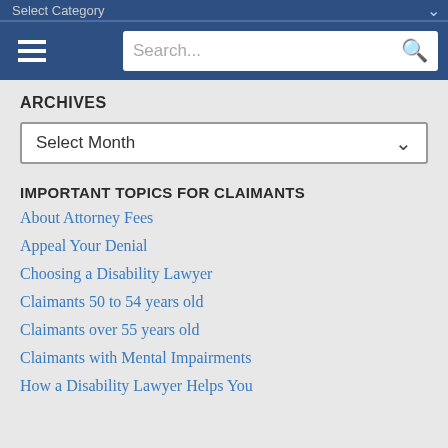Select Category
Search...
ARCHIVES
Select Month
IMPORTANT TOPICS FOR CLAIMANTS
About Attorney Fees
Appeal Your Denial
Choosing a Disability Lawyer
Claimants 50 to 54 years old
Claimants over 55 years old
Claimants with Mental Impairments
How a Disability Lawyer Helps You